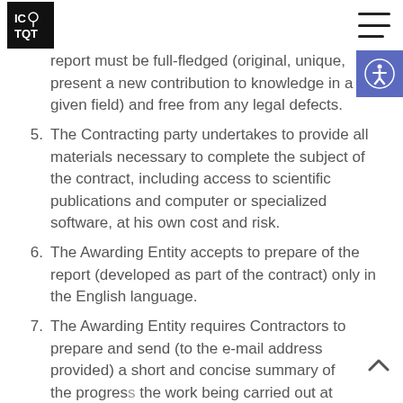ICTQT logo and navigation
report must be full-fledged (original, unique, present a new contribution to knowledge in a given field) and free from any legal defects.
5. The Contracting party undertakes to provide all materials necessary to complete the subject of the contract, including access to scientific publications and computer or specialized software, at his own cost and risk.
6. The Awarding Entity accepts to prepare of the report (developed as part of the contract) only in the English language.
7. The Awarding Entity requires Contractors to prepare and send (to the e-mail address provided) a short and concise summary of the progress the work being carried out at least once a month during contact execution (in Polish or English language) and all content required at least (3) t...